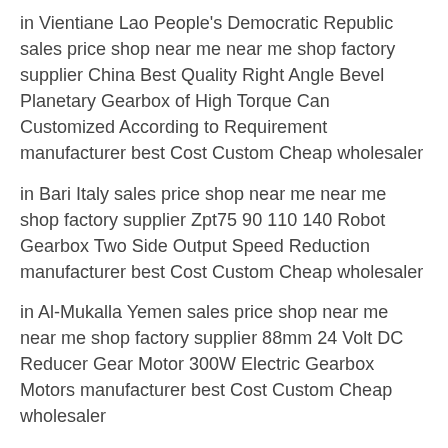in Vientiane Lao People's Democratic Republic sales price shop near me near me shop factory supplier China Best Quality Right Angle Bevel Planetary Gearbox of High Torque Can Customized According to Requirement manufacturer best Cost Custom Cheap wholesaler
in Bari Italy sales price shop near me near me shop factory supplier Zpt75 90 110 140 Robot Gearbox Two Side Output Speed Reduction manufacturer best Cost Custom Cheap wholesaler
in Al-Mukalla Yemen sales price shop near me near me shop factory supplier 88mm 24 Volt DC Reducer Gear Motor 300W Electric Gearbox Motors manufacturer best Cost Custom Cheap wholesaler
in Can Tho Viet Nam sales price shop near me near me shop factory supplier Factory Product Wholesale Price Prf60-L2 Planetary Gearbox manufacturer best Cost Custom Cheap wholesaler